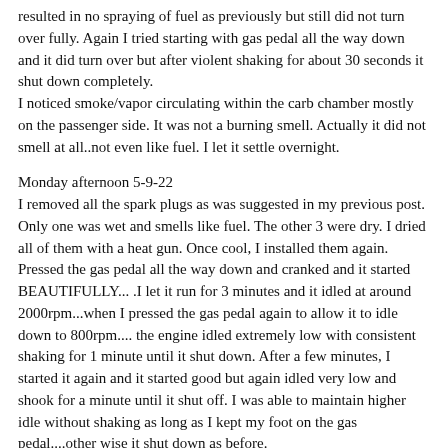resulted in no spraying of fuel as previously but still did not turn over fully. Again I tried starting with gas pedal all the way down and it did turn over but after violent shaking for about 30 seconds it shut down completely. I noticed smoke/vapor circulating within the carb chamber mostly on the passenger side. It was not a burning smell. Actually it did not smell at all..not even like fuel. I let it settle overnight.
Monday afternoon 5-9-22
I removed all the spark plugs as was suggested in my previous post. Only one was wet and smells like fuel. The other 3 were dry. I dried all of them with a heat gun. Once cool, I installed them again. Pressed the gas pedal all the way down and cranked and it started BEAUTIFULLY... .I let it run for 3 minutes and it idled at around 2000rpm...when I pressed the gas pedal again to allow it to idle down to 800rpm.... the engine idled extremely low with consistent shaking for 1 minute until it shut down. After a few minutes, I started it again and it started good but again idled very low and shook for a minute until it shut off. I was able to maintain higher idle without shaking as long as I kept my foot on the gas pedal....other wise it shut down as before.
Looks like I'm making some progress but still not right.